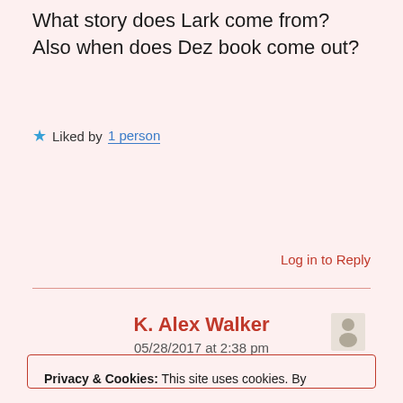What story does Lark come from?
Also when does Dez book come out?
★ Liked by 1 person
Log in to Reply
K. Alex Walker
05/28/2017 at 2:38 pm
Privacy & Cookies: This site uses cookies. By continuing to use this website, you agree to their use.
To find out more, including how to control cookies, see here:
Cookie Policy
Close and accept